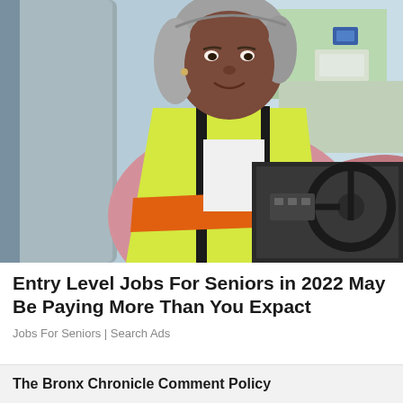[Figure (photo): A smiling older Black woman with gray hair sitting in the driver's seat of a bus or truck, wearing a pink long-sleeve shirt under a yellow high-visibility safety vest with an orange reflective stripe. She is turned toward the camera with her arm on the steering wheel. The interior of the vehicle is visible.]
Entry Level Jobs For Seniors in 2022 May Be Paying More Than You Expact
Jobs For Seniors | Search Ads
The Bronx Chronicle Comment Policy